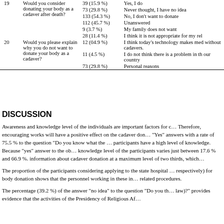|  | Question | n (%) | Answer |
| --- | --- | --- | --- |
| 19 | Would you consider donating your body as a cadaver after death? | 39 (15.9 %) | Yes, I do |
|  |  | 73 (29.8 %) | Never thought, I have no idea |
|  |  | 133 (54.3 %) | No, I don't want to donate |
|  |  | 112 (45.7 %) | Unanswered |
|  |  | 9 (3.7 %) | My family does not want |
|  |  | 28 (11.4 %) | I think it is not appropriate for my rel… |
| 20 | Would you please explain why you do not want to donate your body as a cadaver? | 12 (04.9 %) | I think today's technology makes med… without cadavers. |
|  |  | 11 (4.5 %) | I do not think there is a problem in th… our country |
|  |  | 73 (29.8 %) | Personal reasons |
DISCUSSION
Awareness and knowledge level of the individuals are important factors for c… Therefore, encouraging works will have a positive effect on the cadaver don… "Yes" answers with a rate of 75.5 % to the question "Do you know what the … participants have a high level of knowledge. Because "yes" answer to the ob… knowledge level of the participants varies just between 17.6 % and 66.9 %. … information about cadaver donation at a maximum level of two thirds, which…
The proportion of the participants considering applying to the state hospital … respectively) for body donation shows that the personnel working in these in… related procedures.
The percentage (39.2 %) of the answer "no idea" to the question "Do you th… law)?" provides evidence that the activities of the Presidency of Religious Af…